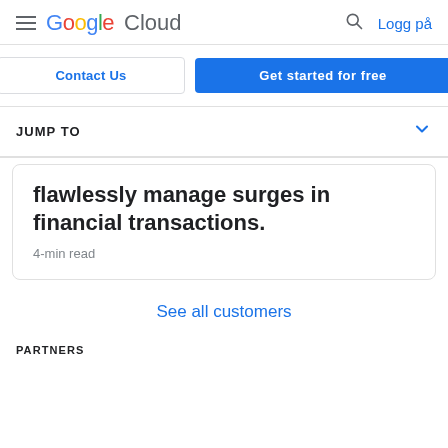Google Cloud  Logg på
Contact Us
Get started for free
JUMP TO
flawlessly manage surges in financial transactions.
4-min read
See all customers
PARTNERS